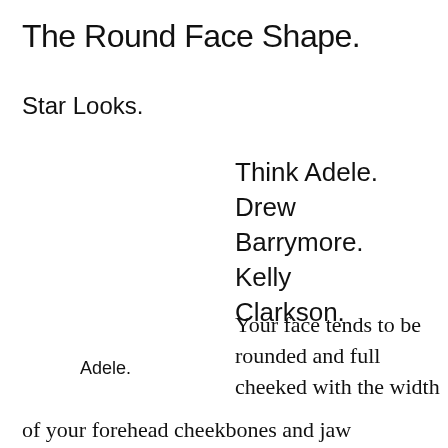The Round Face Shape.
Star Looks.
Think Adele. Drew Barrymore. Kelly Clarkson.
Adele.
Your face tends to be rounded and full cheeked with the width of your forehead cheekbones and jaw